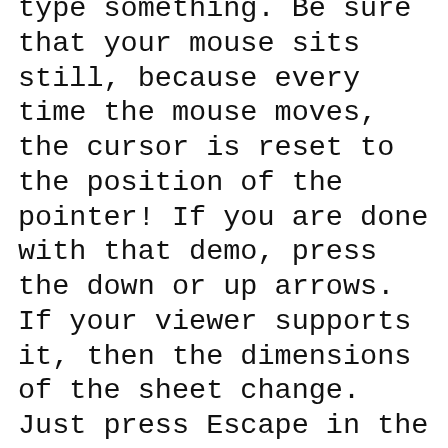type something. Be sure that your mouse sits still, because every time the mouse moves, the cursor is reset to the position of the pointer! If you are done with that demo, press the down or up arrows. If your viewer supports it, then the dimensions of the sheet change. Just press Escape in the viewer. Note that the server still runs, even if you closed both windows. When you reconnect now, everything you painted and wrote is still there. You can press "Page Up" for a blank page.
The demo pnmshow is much simpler: you either provide a filename as argument or pipe a file through stdin. Note that the file has to be a raw pnm/ppm file, i.e. a truecolour graphics. Only the Escape key is implemented. This may be the best starting point if you want to learn how to use LibVNCServer. You are confronted with the